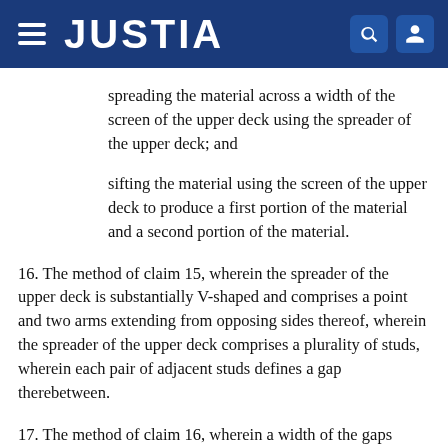JUSTIA
spreading the material across a width of the screen of the upper deck using the spreader of the upper deck; and
sifting the material using the screen of the upper deck to produce a first portion of the material and a second portion of the material.
16. The method of claim 15, wherein the spreader of the upper deck is substantially V-shaped and comprises a point and two arms extending from opposing sides thereof, wherein the spreader of the upper deck comprises a plurality of studs, wherein each pair of adjacent studs defines a gap therebetween.
17. The method of claim 16, wherein a width of the gaps increases proceeding from the point along the two arms